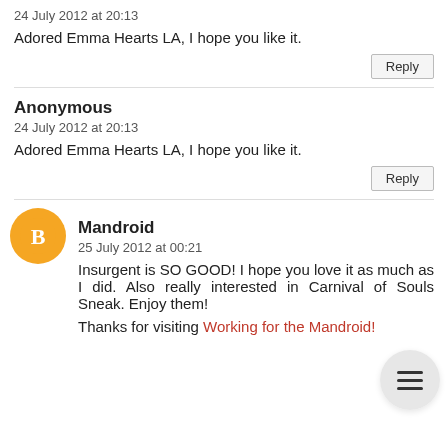24 July 2012 at 20:13
Adored Emma Hearts LA, I hope you like it.
Reply
Anonymous
24 July 2012 at 20:13
Adored Emma Hearts LA, I hope you like it.
Reply
Mandroid
25 July 2012 at 00:21
Insurgent is SO GOOD! I hope you love it as much as I did. Also really interested in Carnival of Souls Sneak. Enjoy them!
Thanks for visiting Working for the Mandroid!